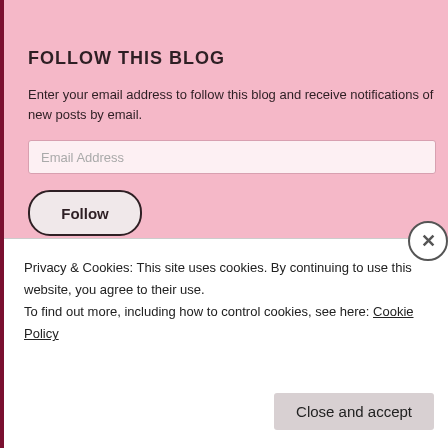FOLLOW THIS BLOG
Enter your email address to follow this blog and receive notifications of new posts by email.
Email Address
Follow
ARCHIVES
April 2022 (2)
March 2022 (2)
Privacy & Cookies: This site uses cookies. By continuing to use this website, you agree to their use.
To find out more, including how to control cookies, see here: Cookie Policy
Close and accept